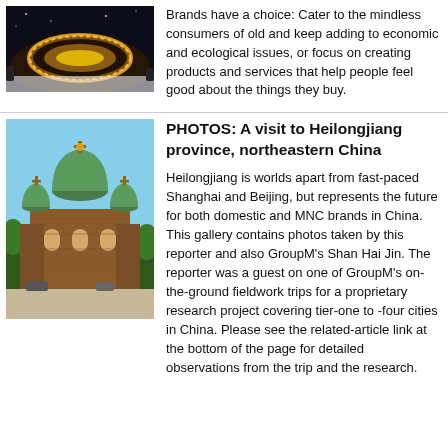[Figure (photo): Aerial night view of a large circular stadium or arena lit up with golden/orange lights surrounded by a snowy landscape]
Brands have a choice: Cater to the mindless consumers of old and keep adding to economic and ecological issues, or focus on creating products and services that help people feel good about the things they buy.
[Figure (photo): Photo of a large ornate Russian Orthodox cathedral with green domed roofs and red brick architecture under a blue sky]
PHOTOS: A visit to Heilongjiang province, northeastern China
Heilongjiang is worlds apart from fast-paced Shanghai and Beijing, but represents the future for both domestic and MNC brands in China. This gallery contains photos taken by this reporter and also GroupM's Shan Hai Jin. The reporter was a guest on one of GroupM's on-the-ground fieldwork trips for a proprietary research project covering tier-one to -four cities in China. Please see the related-article link at the bottom of the page for detailed observations from the trip and the research.